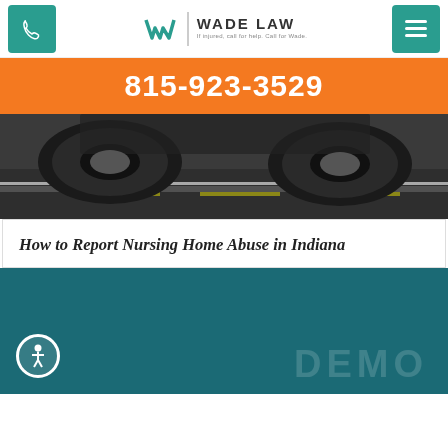Wade Law — If injured, call 815-923-3529. Call for Wade.
815-923-3529
[Figure (photo): Close-up photo of car tires on a road/pavement, depicting an accident scene from a low angle]
How to Report Nursing Home Abuse in Indiana
[Figure (other): Teal/dark cyan background section with faint DEMO watermark text and an accessibility icon at bottom left]